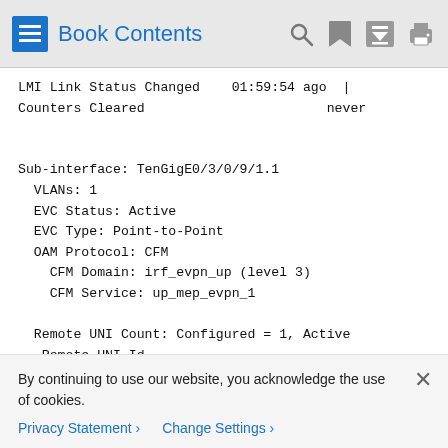Book Contents
LMI Link Status Changed    01:59:54 ago  |
Counters Cleared                       never
Sub-interface: TenGigE0/3/0/9/1.1
  VLANs: 1
  EVC Status: Active
  EVC Type: Point-to-Point
  OAM Protocol: CFM
    CFM Domain: irf_evpn_up (level 3)
    CFM Service: up_mep_evpn_1

  Remote UNI Count: Configured = 1, Active
   Remote UNI Id
   -------------
By continuing to use our website, you acknowledge the use of cookies.
Privacy Statement › Change Settings ›